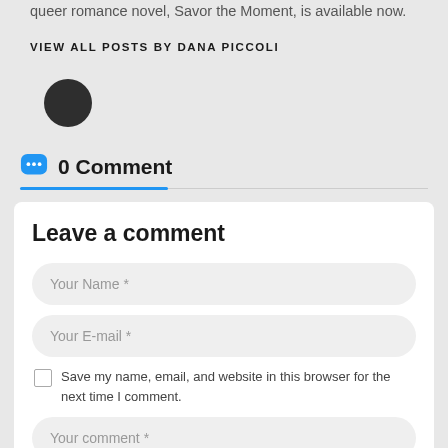queer romance novel, Savor the Moment, is available now.
VIEW ALL POSTS BY DANA PICCOLI
[Figure (illustration): Dark circular avatar icon]
0 Comment
Leave a comment
Your Name *
Your E-mail *
Save my name, email, and website in this browser for the next time I comment.
Your comment *